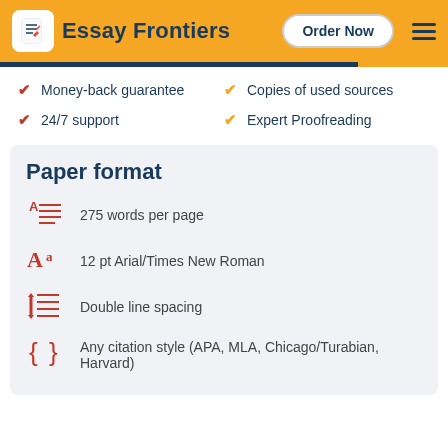Essay Frontiers | Order Now
Money-back guarantee
24/7 support
Copies of used sources
Expert Proofreading
Paper format
275 words per page
12 pt Arial/Times New Roman
Double line spacing
Any citation style (APA, MLA, Chicago/Turabian, Harvard)